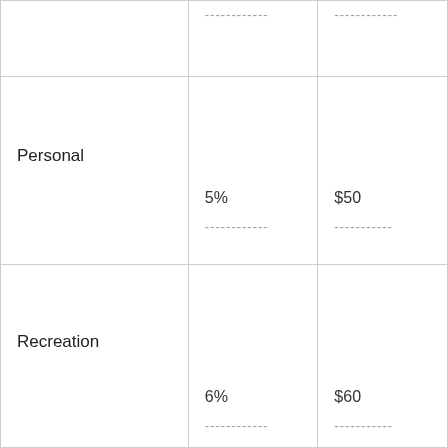|  | ------------ | ------------ |
| Personal | 5%
------------ | $50
------------ |
| Recreation | 6%
------------ | $60
------------ |